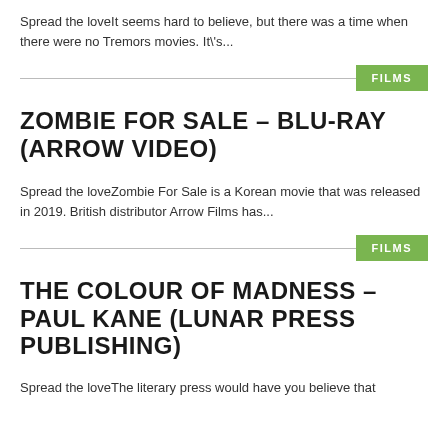Spread the loveIt seems hard to believe, but there was a time when there were no Tremors movies. It\'s...
FILMS
ZOMBIE FOR SALE – BLU-RAY (ARROW VIDEO)
Spread the loveZombie For Sale is a Korean movie that was released in 2019. British distributor Arrow Films has...
FILMS
THE COLOUR OF MADNESS – PAUL KANE (LUNAR PRESS PUBLISHING)
Spread the loveThe literary press would have you believe that